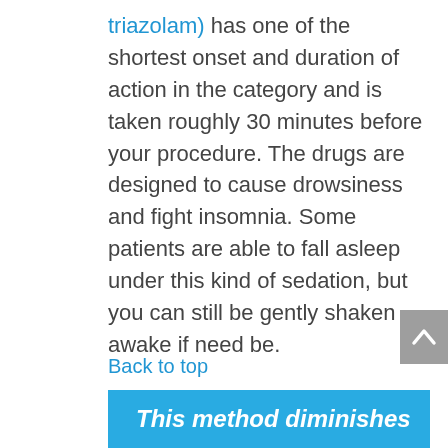triazolam) has one of the shortest onset and duration of action in the category and is taken roughly 30 minutes before your procedure. The drugs are designed to cause drowsiness and fight insomnia. Some patients are able to fall asleep under this kind of sedation, but you can still be gently shaken awake if need be.
Back to top
This method diminishes